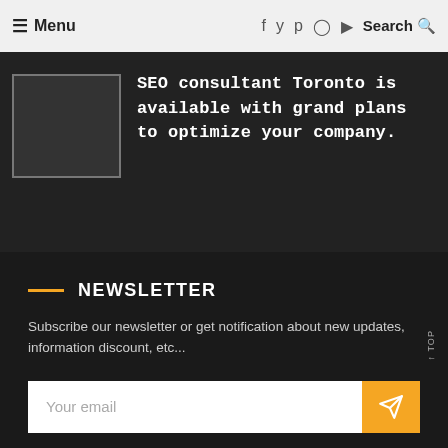≡ Menu   f  🐦  ℗  📷  ▶  Search 🔍
[Figure (photo): Placeholder image box (dark rectangle with border)]
SEO consultant Toronto is available with grand plans to optimize your company.
NEWSLETTER
Subscribe our newsletter or get notification about new updates, information discount, etc...
Your email